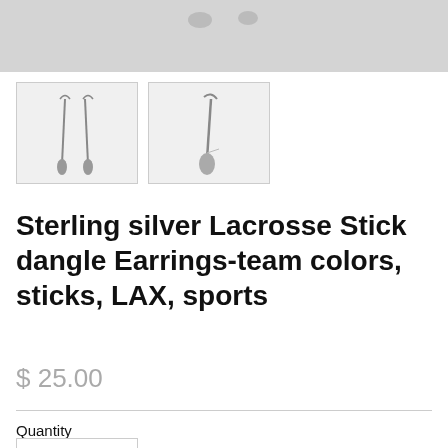[Figure (photo): Cropped top of product image showing lacrosse stick earrings on white/light gray background]
[Figure (photo): Thumbnail 1: Two lacrosse stick dangle earrings side by side]
[Figure (photo): Thumbnail 2: Close-up of lacrosse stick dangle earrings]
Sterling silver Lacrosse Stick dangle Earrings-team colors, sticks, LAX, sports
$ 25.00
Quantity
1
Add to cart